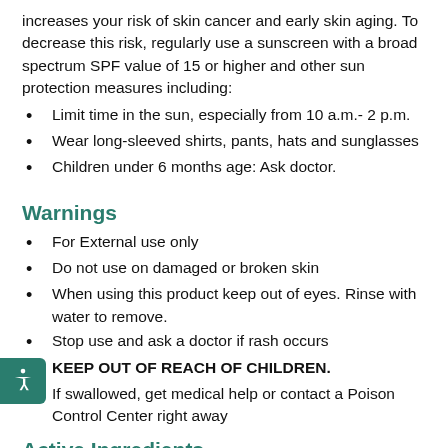increases your risk of skin cancer and early skin aging. To decrease this risk, regularly use a sunscreen with a broad spectrum SPF value of 15 or higher and other sun protection measures including:
Limit time in the sun, especially from 10 a.m.- 2 p.m.
Wear long-sleeved shirts, pants, hats and sunglasses
Children under 6 months age: Ask doctor.
Warnings
For External use only
Do not use on damaged or broken skin
When using this product keep out of eyes. Rinse with water to remove.
Stop use and ask a doctor if rash occurs
KEEP OUT OF REACH OF CHILDREN.
If swallowed, get medical help or contact a Poison Control Center right away
Active Ingredients
Avobenzone (3%), Homosalate (3%), Octisalate (5%),